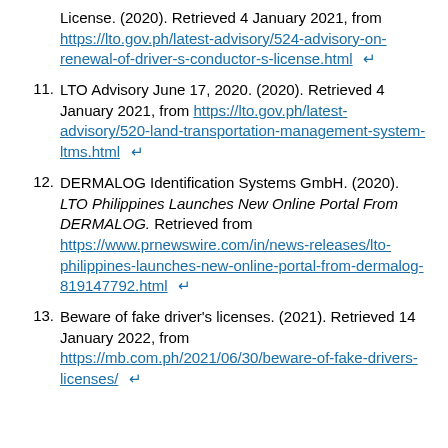License. (2020). Retrieved 4 January 2021, from https://lto.gov.ph/latest-advisory/524-advisory-on-renewal-of-driver-s-conductor-s-license.html ↵
11. LTO Advisory June 17, 2020. (2020). Retrieved 4 January 2021, from https://lto.gov.ph/latest-advisory/520-land-transportation-management-system-ltms.html ↵
12. DERMALOG Identification Systems GmbH. (2020). LTO Philippines Launches New Online Portal From DERMALOG. Retrieved from https://www.prnewswire.com/in/news-releases/lto-philippines-launches-new-online-portal-from-dermalog-819147792.html ↵
13. Beware of fake driver's licenses. (2021). Retrieved 14 January 2022, from https://mb.com.ph/2021/06/30/beware-of-fake-drivers-licenses/ ↵